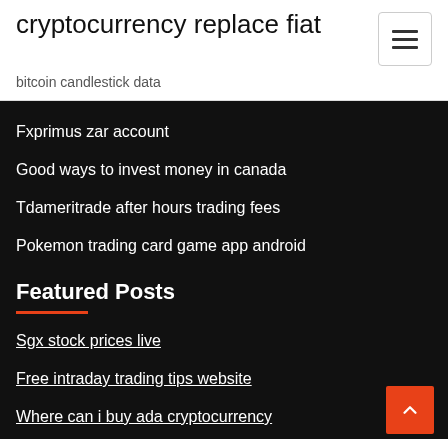cryptocurrency replace fiat
bitcoin candlestick data
Fxprimus zar account
Good ways to invest money in canada
Tdameritrade after hours trading fees
Pokemon trading card game app android
Featured Posts
Sgx stock prices live
Free intraday trading tips website
Where can i buy ada cryptocurrency
Macedonian stock exchange trading hours